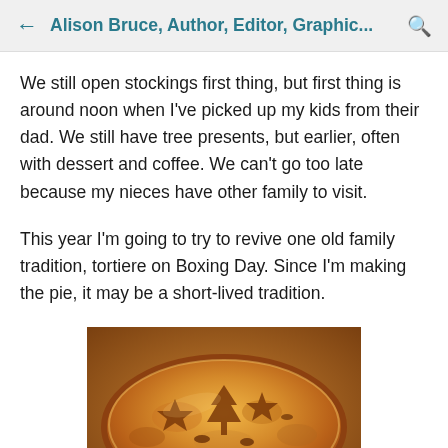← Alison Bruce, Author, Editor, Graphic... 🔍
We still open stockings first thing, but first thing is around noon when I've picked up my kids from their dad. We still have tree presents, but earlier, often with dessert and coffee. We can't go too late because my nieces have other family to visit.
This year I'm going to try to revive one old family tradition, tortiere on Boxing Day. Since I'm making the pie, it may be a short-lived tradition.
[Figure (photo): Close-up photo of a golden-brown baked pie (tourtière/meat pie) with decorative star and tree cutouts on the pastry crust, viewed from slightly above.]